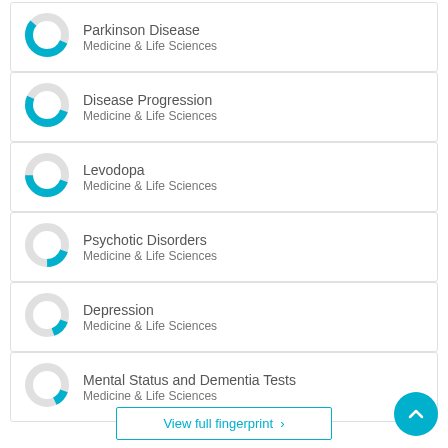Parkinson Disease — Medicine & Life Sciences
Disease Progression — Medicine & Life Sciences
Levodopa — Medicine & Life Sciences
Psychotic Disorders — Medicine & Life Sciences
Depression — Medicine & Life Sciences
Mental Status and Dementia Tests — Medicine & Life Sciences
View full fingerprint ›